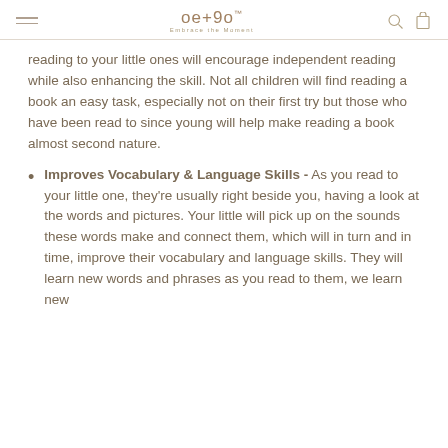oe+90 Embrace the Moment
reading to your little ones will encourage independent reading while also enhancing the skill. Not all children will find reading a book an easy task, especially not on their first try but those who have been read to since young will help make reading a book almost second nature.
Improves Vocabulary & Language Skills - As you read to your little one, they're usually right beside you, having a look at the words and pictures. Your little will pick up on the sounds these words make and connect them, which will in turn and in time, improve their vocabulary and language skills. They will learn new words and phrases as you read to them, we learn new